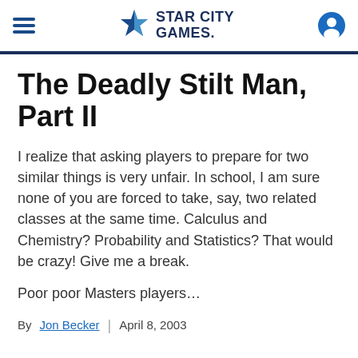Star City Games
The Deadly Stilt Man, Part II
I realize that asking players to prepare for two similar things is very unfair. In school, I am sure none of you are forced to take, say, two related classes at the same time. Calculus and Chemistry? Probability and Statistics? That would be crazy! Give me a break.
Poor poor Masters players…
By Jon Becker   April 8, 2003